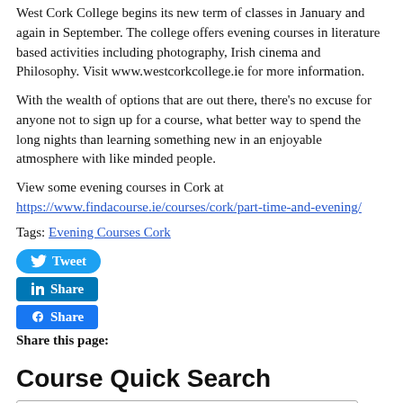West Cork College begins its new term of classes in January and again in September. The college offers evening courses in literature based activities including photography, Irish cinema and Philosophy. Visit www.westcorkcollege.ie for more information.
With the wealth of options that are out there, there's no excuse for anyone not to sign up for a course, what better way to spend the long nights than learning something new in an enjoyable atmosphere with like minded people.
View some evening courses in Cork at https://www.findacourse.ie/courses/cork/part-time-and-evening/
Tags: Evening Courses Cork
[Figure (infographic): Social media share buttons: Tweet (Twitter, blue rounded), Share (LinkedIn, blue square), Share (Facebook, blue square)]
Share this page:
Course Quick Search
All Categories dropdown